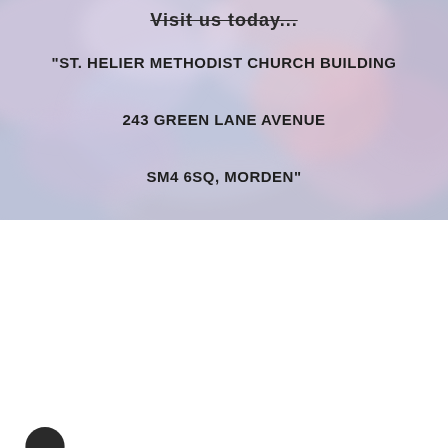[Figure (illustration): Watercolor/painted background with pastel blues, pinks, and purples with text overlay showing church address]
Visit us today...
"ST. HELIER METHODIST CHURCH BUILDING
243 GREEN LANE AVENUE
SM4 6SQ, MORDEN"
LOOKING FOR A CHURCH FAMILY?
[Figure (illustration): Partial dark circular icon/logo at bottom left]